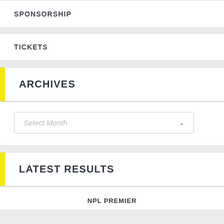SPONSORSHIP
TICKETS
ARCHIVES
Select Month
LATEST RESULTS
NPL PREMIER